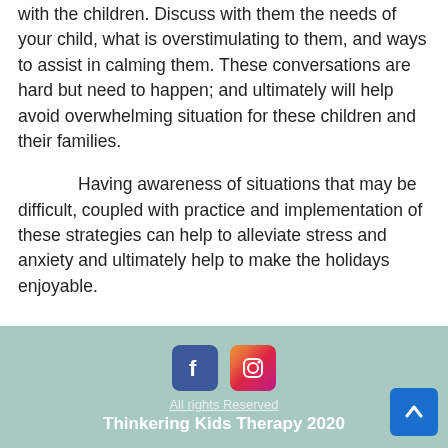with the children. Discuss with them the needs of your child, what is overstimulating to them, and ways to assist in calming them. These conversations are hard but need to happen; and ultimately will help avoid overwhelming situation for these children and their families.
Having awareness of situations that may be difficult, coupled with practice and implementation of these strategies can help to alleviate stress and anxiety and ultimately help to make the holidays enjoyable.
Thinkering Kids Therapy 2020